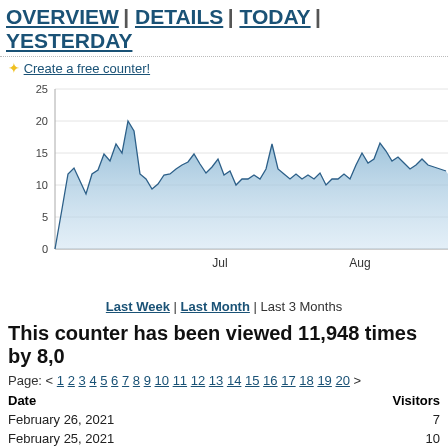OVERVIEW | DETAILS | TODAY | YESTERDAY
✳ Create a free counter!
[Figure (area-chart): Area chart showing daily visitor counts over approximately 3 months. Values range from 0 to ~25, with peaks around 18-19 visitors. X-axis shows Jul and Aug labels. The chart has a light blue shaded area with a darker blue outline.]
Last Week | Last Month | Last 3 Months
This counter has been viewed 11,948 times by 8,0
Page: < 1 2 3 4 5 6 7 8 9 10 11 12 13 14 15 16 17 18 19 20 >
| Date | Visitors |
| --- | --- |
| February 26, 2021 | 7 |
| February 25, 2021 | 10 |
| February 24, 2021 | 4 |